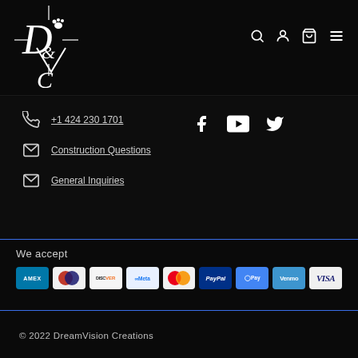[Figure (logo): DreamVision Creations logo — stylized D, R, and V letters with paw print, white on black]
+1 424 230 1701
Construction Questions
General Inquiries
[Figure (other): Social media icons: Facebook, YouTube, Twitter]
We accept
[Figure (other): Payment method logos: AMEX, Diners Club, Discover, Meta Pay, Mastercard, PayPal, GPay, Venmo, Visa]
© 2022 DreamVision Creations